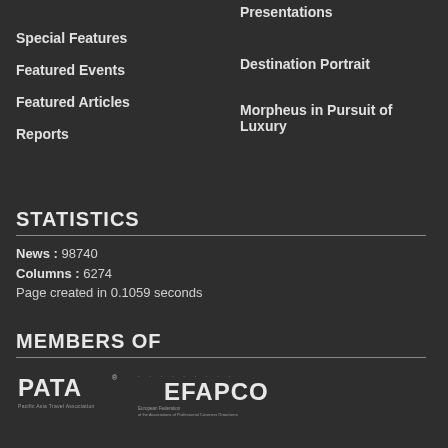Special Features
Featured Events
Featured Articles
Reports
Presentations
Destination Portrait
Morpheus in Pursuit of Luxury
STATISTICS
News : 98740
Columns : 6274
Page created in 0.1059 seconds
MEMBERS OF
[Figure (logo): PATA - Pacific Asia Travel Association logo and EFAPCO - European Federation of the Associations of Professional Congress Organisers logo]